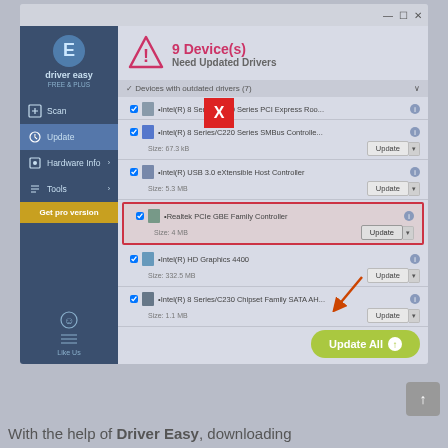[Figure (screenshot): Driver Easy software interface showing 9 devices needing updated drivers. Left sidebar with logo, Scan, Update (active), Hardware Info, Tools menu items, and Get pro version button. Main area shows list of devices with outdated drivers including Intel R 8 Series/C220 Series PCI Express Root, Intel R 8 Series/C220 Series SMBus Controller, Intel R USB 3.0 eXtensible Host Controller, Realtek PCIe GBE Family Controller (highlighted with red border), Intel R HD Graphics 4400, Intel R 8 Series/C230 Chipset Family SATA AH. Each row has Update button. Update All green button at bottom. Red X overlay near top center. Orange arrow pointing to highlighted device's Update button.]
With the help of Driver Easy, downloading